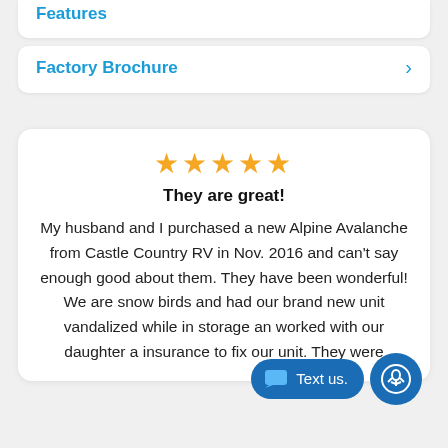Features
Factory Brochure
They are great!
My husband and I purchased a new Alpine Avalanche from Castle Country RV in Nov. 2016 and can't say enough good about them. They have been wonderful! We are snow birds and had our brand new unit vandalized while in storage and worked with our daughter and insurance to fix our unit. They were